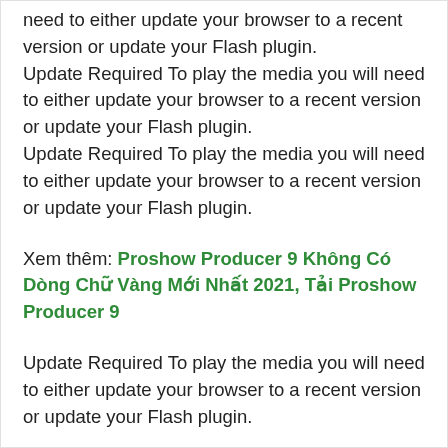need to either update your browser to a recent version or update your Flash plugin. Update Required To play the media you will need to either update your browser to a recent version or update your Flash plugin. Update Required To play the media you will need to either update your browser to a recent version or update your Flash plugin.
Xem thêm: Proshow Producer 9 Không Có Dòng Chữ Vàng Mới Nhất 2021, Tải Proshow Producer 9
Update Required To play the media you will need to either update your browser to a recent version or update your Flash plugin.